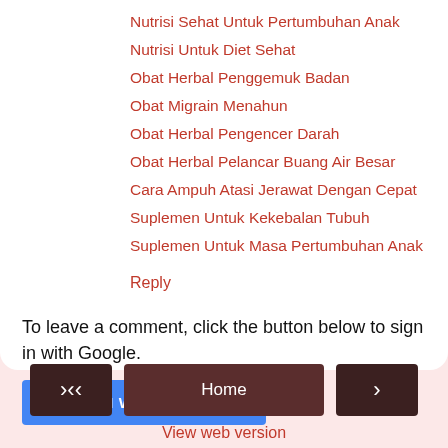Nutrisi Sehat Untuk Pertumbuhan Anak
Nutrisi Untuk Diet Sehat
Obat Herbal Penggemuk Badan
Obat Migrain Menahun
Obat Herbal Pengencer Darah
Obat Herbal Pelancar Buang Air Besar
Cara Ampuh Atasi Jerawat Dengan Cepat
Suplemen Untuk Kekebalan Tubuh
Suplemen Untuk Masa Pertumbuhan Anak
Reply
To leave a comment, click the button below to sign in with Google.
SIGN IN WITH GOOGLE
Home | View web version